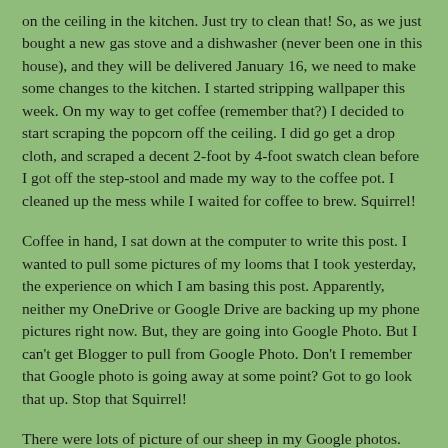on the ceiling in the kitchen. Just try to clean that! So, as we just bought a new gas stove and a dishwasher (never been one in this house), and they will be delivered January 16, we need to make some changes to the kitchen. I started stripping wallpaper this week. On my way to get coffee (remember that?) I decided to start scraping the popcorn off the ceiling. I did go get a drop cloth, and scraped a decent 2-foot by 4-foot swatch clean before I got off the step-stool and made my way to the coffee pot. I cleaned up the mess while I waited for coffee to brew. Squirrel!
Coffee in hand, I sat down at the computer to write this post. I wanted to pull some pictures of my looms that I took yesterday, the experience on which I am basing this post. Apparently, neither my OneDrive or Google Drive are backing up my phone pictures right now. But, they are going into Google Photo. But I can't get Blogger to pull from Google Photo. Don't I remember that Google photo is going away at some point? Got to go look that up. Stop that Squirrel!
There were lots of picture of our sheep in my Google photos. I've been filing the recent ones into albums on my phone, but I don't seem to be able to access those albums from other devices. So, as